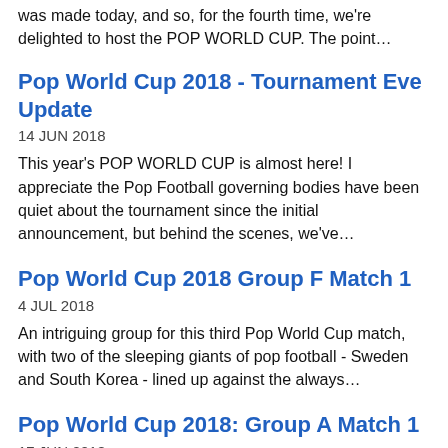was made today, and so, for the fourth time, we're delighted to host the POP WORLD CUP. The point…
Pop World Cup 2018 - Tournament Eve Update
14 JUN 2018
This year's POP WORLD CUP is almost here! I appreciate the Pop Football governing bodies have been quiet about the tournament since the initial announcement, but behind the scenes, we've…
Pop World Cup 2018 Group F Match 1
4 JUL 2018
An intriguing group for this third Pop World Cup match, with two of the sleeping giants of pop football - Sweden and South Korea - lined up against the always…
Pop World Cup 2018: Group A Match 1
17 JUN 2018
It's here! The opening game of the Pop World Cup finds the four teams of Group A raising the curtain on the tournament. Pop football veterans Russia and Uruguay meet…